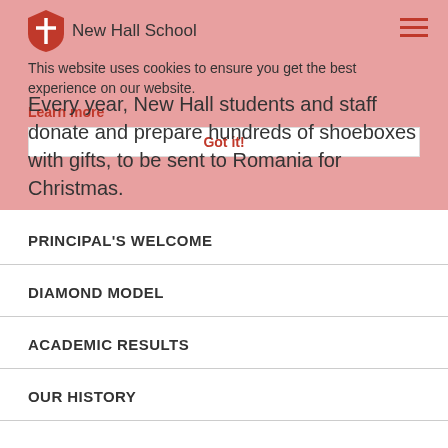New Hall School
This website uses cookies to ensure you get the best experience on our website.
Learn more
Got it!
Every year, New Hall students and staff donate and prepare hundreds of shoeboxes with gifts, to be sent to Romania for Christmas.
PRINCIPAL'S WELCOME
DIAMOND MODEL
ACADEMIC RESULTS
OUR HISTORY